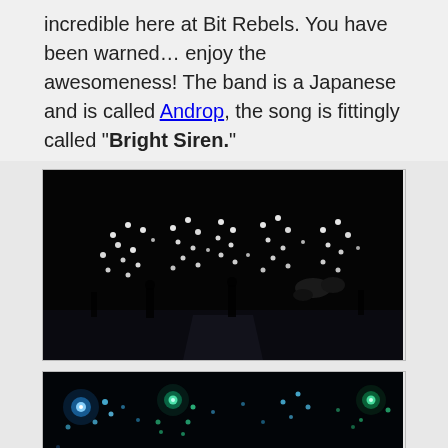incredible here at Bit Rebels. You have been warned… enjoy the awesomeness! The band is a Japanese and is called Androp, the song is fittingly called “Bright Siren.”
[Figure (photo): Dark concert stage with band members silhouetted against a backdrop of white LED lights arranged in letter patterns]
[Figure (photo): Close-up of the same LED light display with blue and teal glowing lights forming letters/patterns on a dark background]